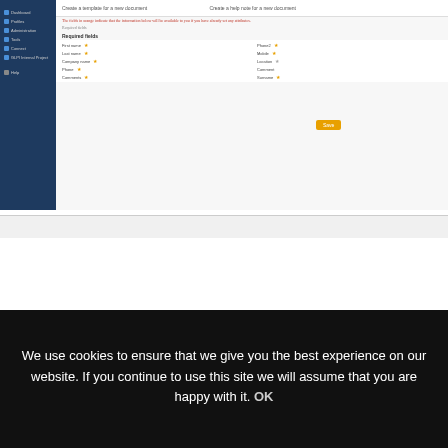[Figure (screenshot): GLPI application screenshot showing a form with required fields (First name, Last name, Company name, Phone, Comments on left; Phone2, Mobile, Location, Comment on right) and a Save button. Dark navy sidebar with menu items on the left.]
[Figure (screenshot): GLPI application navigation bar screenshot showing the GLPI logo in dark navy and navigation breadcrumb links.]
ADVANCED TASKS
We use cookies to ensure that we give you the best experience on our website. If you continue to use this site we will assume that you are happy with it. OK